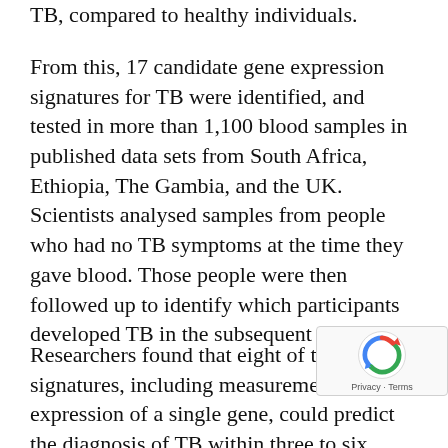TB, compared to healthy individuals.
From this, 17 candidate gene expression signatures for TB were identified, and tested in more than 1,100 blood samples in published data sets from South Africa, Ethiopia, The Gambia, and the UK. Scientists analysed samples from people who had no TB symptoms at the time they gave blood. Those people were then followed up to identify which participants developed TB in the subsequent months.
Researchers found that eight of these signatures, including measurement of expression of a single gene, could predict the diagnosis of TB within three to six months, which falls within the accuracy required by the World Health Organisation